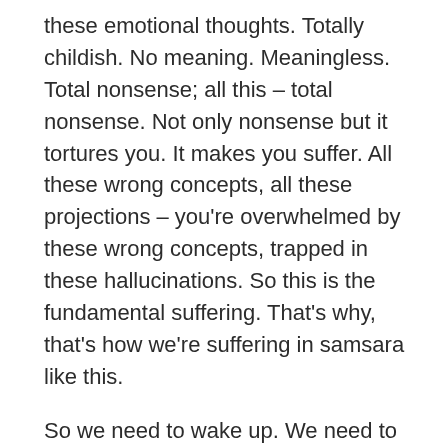these emotional thoughts. Totally childish. No meaning. Meaningless. Total nonsense; all this – total nonsense. Not only nonsense but it tortures you. It makes you suffer. All these wrong concepts, all these projections – you're overwhelmed by these wrong concepts, trapped in these hallucinations. So this is the fundamental suffering. That's why, that's how we're suffering in samsara like this.
So we need to wake up. We need to wake up by realising emptiness, by meditating on emptiness, by studying all the teachings on emptiness. We need to study whole Path. We need to study all the five Paths to liberation – called the Five Paths to Enlightenment. As I mentioned the other night to be free forever from